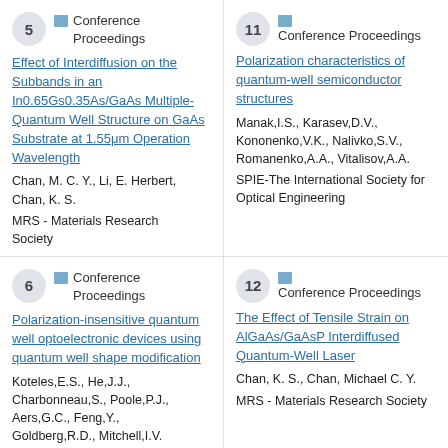5 — Conference Proceedings
Effect of Interdiffusion on the Subbands in an In0.65Gs0.35As/GaAs Multiple-Quantum Well Structure on GaAs Substrate at 1.55μm Operation Wavelength
Chan, M. C. Y., Li, E. Herbert, Chan, K. S.
MRS - Materials Research Society
11 — Conference Proceedings
Polarization characteristics of quantum-well semiconductor structures
Manak,I.S., Karasev,D.V., Kononenko,V.K., Nalivko,S.V., Romanenko,A.A., Vitalisov,A.A.
SPIE-The International Society for Optical Engineering
6 — Conference Proceedings
Polarization-insensitive quantum well optoelectronic devices using quantum well shape modification
Koteles,E.S., He,J.J., Charbonneau,S., Poole,P.J., Aers,G.C., Feng,Y., Goldberg,R.D., Mitchell,I.V.
SPIE-The International Society for...
12 — Conference Proceedings
The Effect of Tensile Strain on AlGaAs/GaAsP Interdiffused Quantum-Well Laser
Chan, K. S., Chan, Michael C. Y.
MRS - Materials Research Society